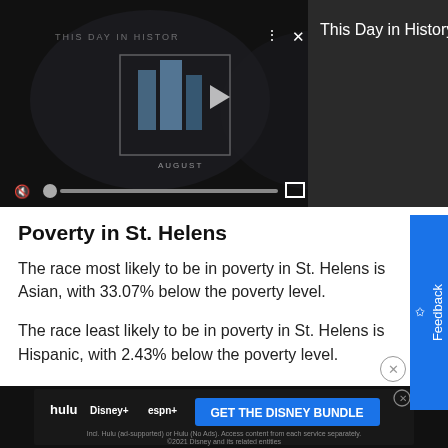[Figure (screenshot): Video player showing 'This Day in History' content with playback controls, mute button, progress bar, and fullscreen icon. Dark background with logo/play button. Top right shows 'This Day in History' label on dark panel.]
Poverty in St. Helens
The race most likely to be in poverty in St. Helens is Asian, with 33.07% below the poverty level.
The race least likely to be in poverty in St. Helens is Hispanic, with 2.43% below the poverty level.
The poverty rate among those that worked full-time
[Figure (screenshot): Advertisement banner: Hulu, Disney+, ESPN+ 'GET THE DISNEY BUNDLE'. Incl. Hulu (ad-supported) or Hulu (No Ads). Access content from each service separately. ©2021 Disney and its related entities]